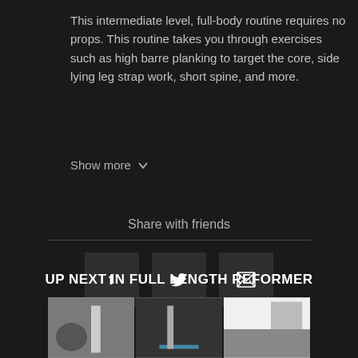This intermediate level, full-body routine requires no props. This routine takes you through exercises such as high barre planking to target the core, side lying leg strap work, short spine, and more.
Show more
Share with friends
[Figure (other): Social share buttons: Facebook (f), Twitter (bird icon), Email (envelope icon)]
UP NEXT IN FULL LENGTH REFORMER
[Figure (photo): Three thumbnail images of reformer pilates studio settings shown side by side]